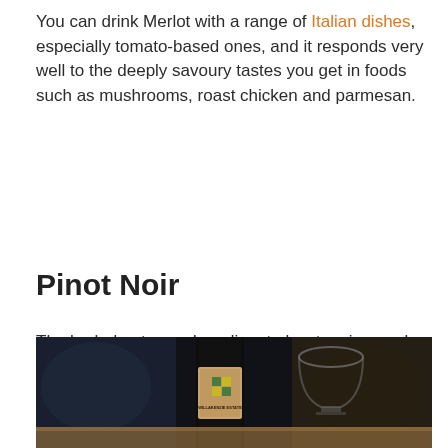You can drink Merlot with a range of Italian dishes, especially tomato-based ones, and it responds very well to the deeply savoury tastes you get in foods such as mushrooms, roast chicken and parmesan.
Pinot Noir
The herbal notes and medium to low tanning, make Pinot Noir an easy wine to approach. It can also vary depending on where it’s made – some varieties are more fruity while others are more earthy. Take notes of the region where your bottle of Pinot comes from and try comparing one from Australia and one from France.
[Figure (photo): A dark photograph showing a bottle of WillaKenzie Estate wine next to a glass, on a wooden table with dark background.]